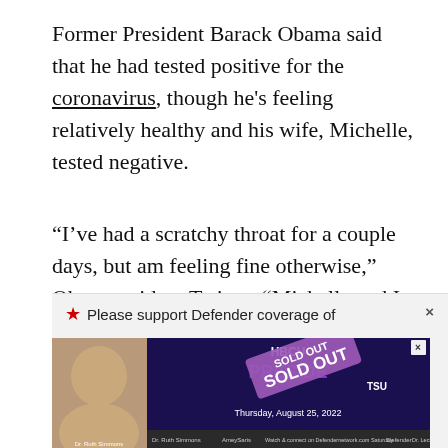Former President Barack Obama said that he had tested positive for the coronavirus, though he's feeling relatively healthy and his wife, Michelle, tested negative.
“I’ve had a scratchy throat for a couple days, but am feeling fine otherwise,” Obama said on Twitter. “Michelle and I are grateful to be vaccinated and boosted.”
[Figure (screenshot): Partially visible advertisement banner for HBCU Presidents event with 'SOLD OUT' stamp overlaid, showing two women (Dr. Ruth Simmons and Dr. Lecia Crumpton Young), event date Thursday, August 25, 2022, with AmeySaris and Defender logos at bottom.]